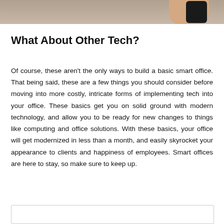[Figure (photo): Partial view of a hand holding a smartphone, cropped photo strip at the top of the page]
What About Other Tech?
Of course, these aren't the only ways to build a basic smart office. That being said, these are a few things you should consider before moving into more costly, intricate forms of implementing tech into your office. These basics get you on solid ground with modern technology, and allow you to be ready for new changes to things like computing and office solutions. With these basics, your office will get modernized in less than a month, and easily skyrocket your appearance to clients and happiness of employees. Smart offices are here to stay, so make sure to keep up.